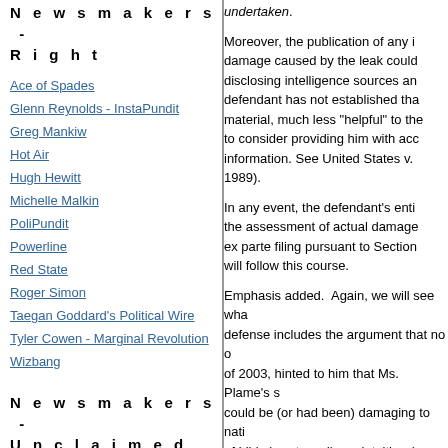Newsmakers - Right
Ace of Spades
Glenn Reynolds - InstaPundit
Greg Mankiw
Hot Air
Hugh Hewitt
Michelle Malkin
PoliPundit
Powerline
Red State
Roger Simon
Taegan Goddard's Political Wire
Tyler Cowen - Marginal Revolution
Wizbang
Newsmakers - Unclaimed
Ann Althouse
KC Johnson / Duke Lacrosse
undertaken.
Moreover, the publication of any i... damage caused by the leak could... disclosing intelligence sources an... defendant has not established tha... material, much less "helpful" to the... to consider providing him with acc... information. See United States v.... 1989).
In any event, the defendant's enti... the assessment of actual damage... ex parte filing pursuant to Section... will follow this course.
Emphasis added.  Again, we will see wha... defense includes the argument that no o... of 2003, hinted to him that Ms. Plame's s... could be (or had been) damaging to nati... of Libby's extraordinary intuition (or conta... support his absence of a motive.
Fitzgerald does use the word "greymail",... for the Presidential Daily Briefs seem fine...